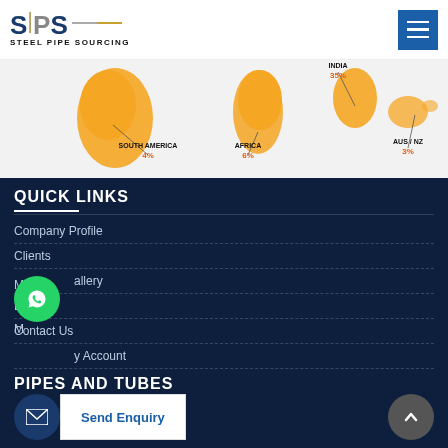[Figure (logo): Steel Pipe Sourcing (SPS) logo with blue and grey lettering and a diagonal slash accent]
[Figure (map): World map infographic showing sourcing percentages by region: South America 4%, Africa 6%, India 35%, Aus/NZ 3%, with orange highlighted countries]
QUICK LINKS
Company Profile
Clients
Media Gallery
Blog
Contact Us
My Account
PIPES AND TUBES